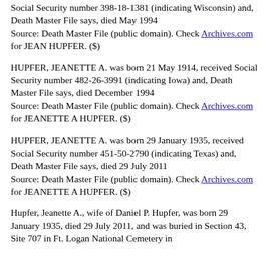Social Security number 398-18-1381 (indicating Wisconsin) and, Death Master File says, died May 1994
Source: Death Master File (public domain). Check Archives.com for JEAN HUPFER. ($)
HUPFER, JEANETTE A. was born 21 May 1914, received Social Security number 482-26-3991 (indicating Iowa) and, Death Master File says, died December 1994
Source: Death Master File (public domain). Check Archives.com for JEANETTE A HUPFER. ($)
HUPFER, JEANETTE A. was born 29 January 1935, received Social Security number 451-50-2790 (indicating Texas) and, Death Master File says, died 29 July 2011
Source: Death Master File (public domain). Check Archives.com for JEANETTE A HUPFER. ($)
Hupfer, Jeanette A., wife of Daniel P. Hupfer, was born 29 January 1935, died 29 July 2011, and was buried in Section 43, Site 707 in Ft. Logan National Cemetery in...